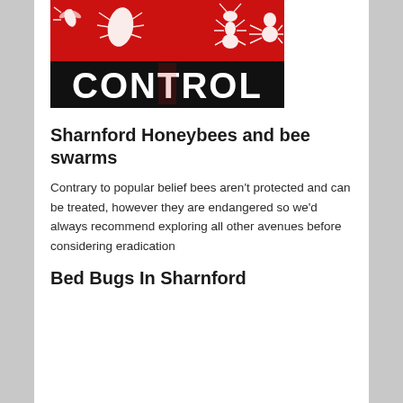[Figure (logo): Pest control company logo with red and black design showing pest silhouettes and bold 'CONTROL' text]
Sharnford Honeybees and bee swarms
Contrary to popular belief bees aren't protected and can be treated, however they are endangered so we'd always recommend exploring all other avenues before considering eradication
Bed Bugs In Sharnford